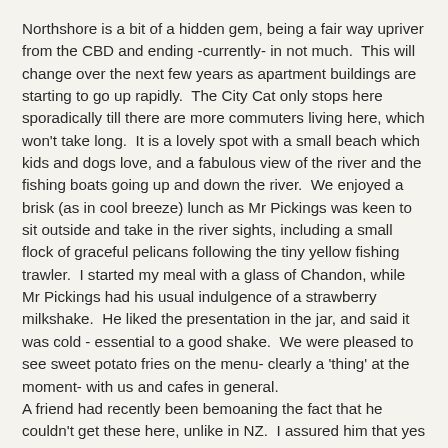Northshore is a bit of a hidden gem, being a fair way upriver from the CBD and ending -currently- in not much.  This will change over the next few years as apartment buildings are starting to go up rapidly.  The City Cat only stops here sporadically till there are more commuters living here, which won't take long.  It is a lovely spot with a small beach which kids and dogs love, and a fabulous view of the river and the fishing boats going up and down the river.  We enjoyed a brisk (as in cool breeze) lunch as Mr Pickings was keen to sit outside and take in the river sights, including a small flock of graceful pelicans following the tiny yellow fishing trawler.  I started my meal with a glass of Chandon, while Mr Pickings had his usual indulgence of a strawberry milkshake.  He liked the presentation in the jar, and said it was cold - essential to a good shake.  We were pleased to see sweet potato fries on the menu- clearly a 'thing' at the moment- with us and cafes in general.
A friend had recently been bemoaning the fact that he couldn't get these here, unlike in NZ.  I assured him that yes indeed they were also now an Aussie thing as well as a Kiwi thing.  These were delicious- thin with what seemed to be a